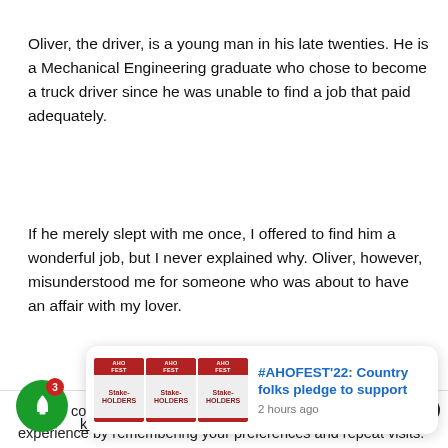Oliver, the driver, is a young man in his late twenties. He is a Mechanical Engineering graduate who chose to become a truck driver since he was unable to find a job that paid adequately.
If he merely slept with me once, I offered to find him a wonderful job, but I never explained why. Oliver, however, misunderstood me for someone who was about to have an affair with my lover.
We use cookies on our website to give you the most relevant experience by remembering your preferences and repeat visits. By clicking "ACCEPT ALL", you consent to the use of ALL the cookies. However, you may visit "Cookie Settings" to pro...
[Figure (screenshot): A notification popup card showing #AHOFEST'22: Country folks pledge to support, with three magazine cover thumbnails and a timestamp '2 hours ago']